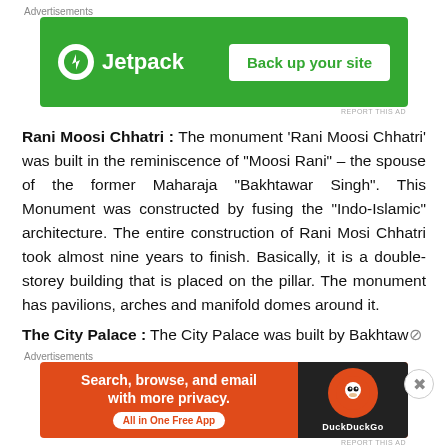[Figure (other): Jetpack advertisement banner: green background with Jetpack logo and 'Back up your site' button]
Rani Moosi Chhatri : The monument ‘Rani Moosi Chhatri’ was built in the reminiscence of “Moosi Rani” – the spouse of the former Maharaja “Bakhtawar Singh”. This Monument was constructed by fusing the “Indo-Islamic” architecture. The entire construction of Rani Mosi Chhatri took almost nine years to finish. Basically, it is a double-storey building that is placed on the pillar. The monument has pavilions, arches and manifold domes around it.
The City Palace : The City Palace was built by Bakhtaw...
[Figure (other): DuckDuckGo advertisement banner: orange/dark background with 'Search, browse, and email with more privacy. All in One Free App' text and DuckDuckGo logo]